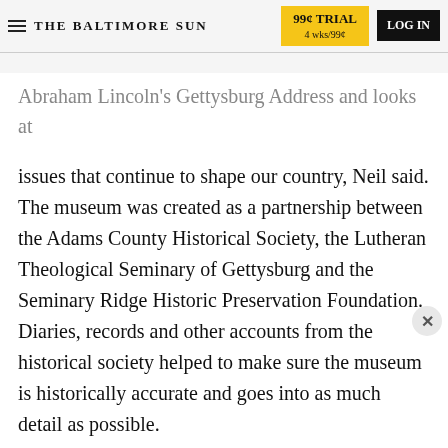THE BALTIMORE SUN | 99¢ TRIAL 4 wks/99¢ | LOG IN
Abraham Lincoln's Gettysburg Address and looks at issues that continue to shape our country, Neil said. The museum was created as a partnership between the Adams County Historical Society, the Lutheran Theological Seminary of Gettysburg and the Seminary Ridge Historic Preservation Foundation. Diaries, records and other accounts from the historical society helped to make sure the museum is historically accurate and goes into as much detail as possible.
"We think people should come here because they
[Figure (other): Advertisement banner for Chesapeake Bay Crossing Study Tier 2 NEPA featuring '2022 Open Houses Sept. 7th, 8th & 13th' on purple background]